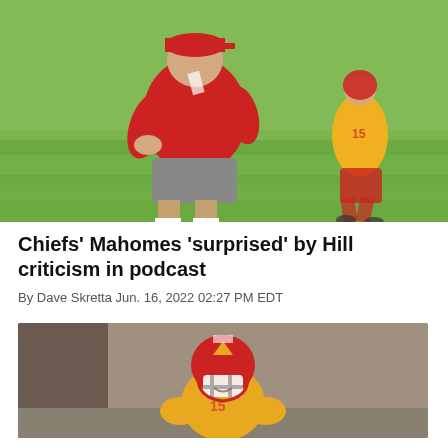[Figure (photo): NFL coach in red shirt and gray shorts standing on green grass field during practice, with a player wearing jersey number 15 in background]
Chiefs' Mahomes 'surprised' by Hill criticism in podcast
By Dave Skretta Jun. 16, 2022 02:27 PM EDT
[Figure (photo): Kansas City Chiefs quarterback wearing red helmet with Chiefs logo and yellow jersey, smiling during practice]